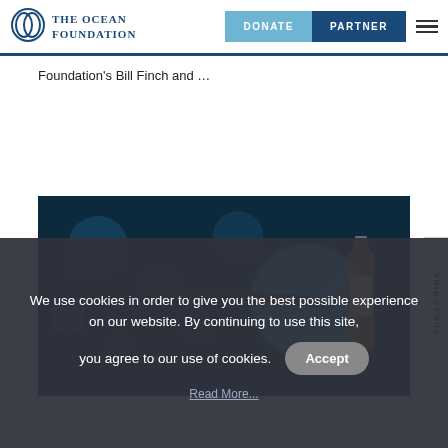THE OCEAN FOUNDATION | DONATE | PARTNER
Foundation's Bill Finch and …
[Figure (photo): Dark blue-toned photograph showing a hand holding a paintbrush near a circular illustration on a bottle, with bokeh background lighting]
SUBSCRIBE
We use cookies in order to give you the best possible experience on our website. By continuing to use this site, you agree to our use of cookies.
Accept
Read More...